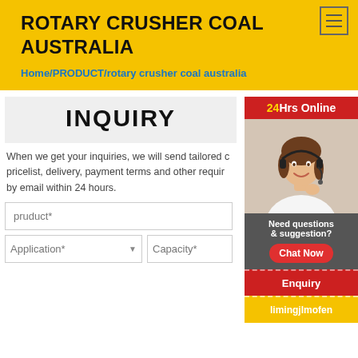ROTARY CRUSHER COAL AUSTRALIA
Home/PRODUCT/rotary crusher coal australia
[Figure (screenshot): Customer service agent photo with headset, 24Hrs Online red banner, and chat/enquiry sidebar]
INQUIRY
When we get your inquiries, we will send tailored catalogue, pricelist, delivery, payment terms and other required details to you by email within 24 hours.
pruduct*
Application*
Capacity*